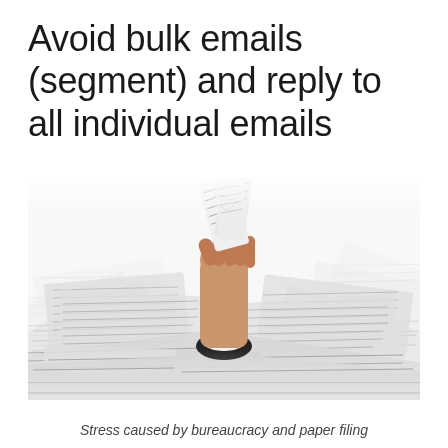Avoid bulk emails (segment) and reply to all individual emails
[Figure (photo): A hand reaching up from a large pile of scattered papers and documents, holding crumpled papers aloft, symbolizing being overwhelmed by paperwork and bureaucracy.]
Stress caused by bureaucracy and paper filing